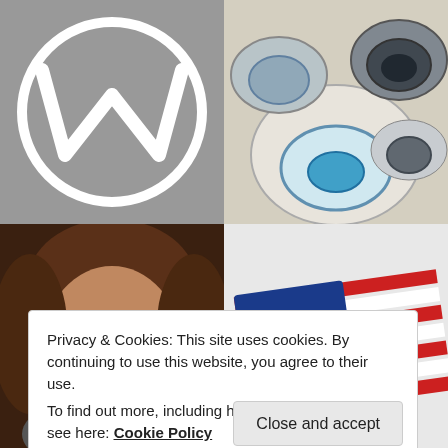[Figure (logo): WordPress logo — white W in a circle on gray background]
[Figure (photo): Photo of ceramic bowls with blue circles viewed from above]
[Figure (photo): Close-up photo of a person's face with brown hair]
[Figure (logo): American flag with a blue section containing a white crown logo]
Privacy & Cookies: This site uses cookies. By continuing to use this website, you agree to their use.
To find out more, including how to control cookies, see here: Cookie Policy
Close and accept